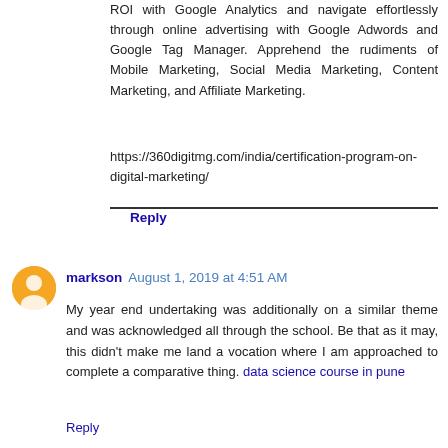ROI with Google Analytics and navigate effortlessly through online advertising with Google Adwords and Google Tag Manager. Apprehend the rudiments of Mobile Marketing, Social Media Marketing, Content Marketing, and Affiliate Marketing.
https://360digitmg.com/india/certification-program-on-digital-marketing/
Reply
markson August 1, 2019 at 4:51 AM
My year end undertaking was additionally on a similar theme and was acknowledged all through the school. Be that as it may, this didn't make me land a vocation where I am approached to complete a comparative thing. data science course in pune
Reply